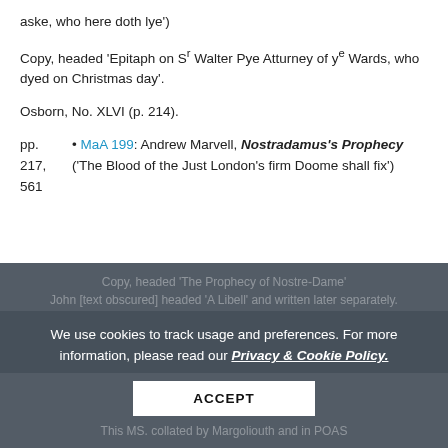aske, who here doth lye')
Copy, headed 'Epitaph on Sr Walter Pye Atturney of ye Wards, who dyed on Christmas day'.
Osborn, No. XLVI (p. 214).
pp. 217, 561 • MaA 199: Andrew Marvell, Nostradamus's Prophecy ('The Blood of the Just London's firm Doome shall fix')
Copy, headed 'The Prophecy of Nostre-Dame' [behind overlay]
We use cookies to track usage and preferences. For more information, please read our Privacy & Cookie Policy.
This MS. collated by Margoliouth and in POAS [behind overlay]